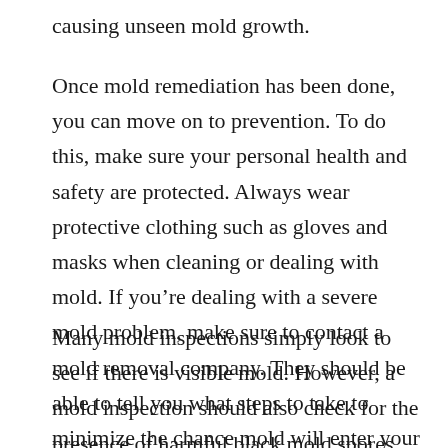causing unseen mold growth.
Once mold remediation has been done, you can move on to prevention. To do this, make sure your personal health and safety are protected. Always wear protective clothing such as gloves and masks when cleaning or dealing with mold. If you’re dealing with a severe mold problem, make sure to contact a mold removal company. They should be able to tell you what steps to take to minimize the chance mold will enter your home.
Many mold inspections simply look to see if there is visible mold. However, a mold inspection should also check for the presence of harmful black mold spores. Black mold spores are extremely dangerous and can